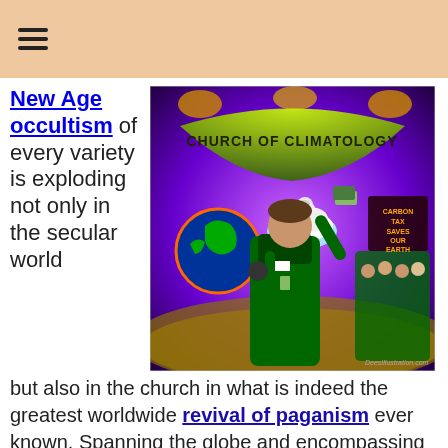≡
New Age occultism of every variety is exploding not only in the secular world
[Figure (illustration): Satirical illustration titled 'Church of Climatology' showing a preacher in a green suit holding a microphone and raising money, with a polar bear on ice, a globe, a choir in green robes, and text 'Carbon Tax Saves Our Earth'. Watermark: DeesIllustration.com]
but also in the church in what is indeed the greatest worldwide revival of paganism ever known. Spanning the globe and encompassing